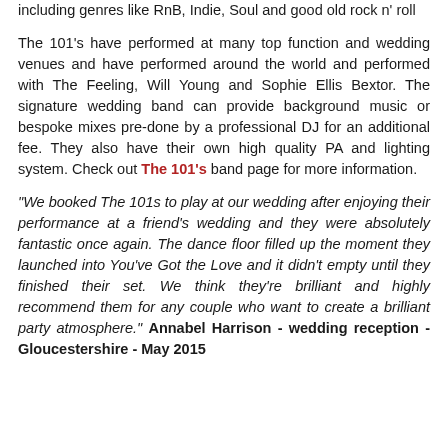including genres like RnB, Indie, Soul and good old rock n' roll
The 101's have performed at many top function and wedding venues and have performed around the world and performed with The Feeling, Will Young and Sophie Ellis Bextor. The signature wedding band can provide background music or bespoke mixes pre-done by a professional DJ for an additional fee. They also have their own high quality PA and lighting system. Check out The 101's band page for more information.
"We booked The 101s to play at our wedding after enjoying their performance at a friend's wedding and they were absolutely fantastic once again. The dance floor filled up the moment they launched into You've Got the Love and it didn't empty until they finished their set. We think they're brilliant and highly recommend them for any couple who want to create a brilliant party atmosphere." Annabel Harrison - wedding reception - Gloucestershire - May 2015